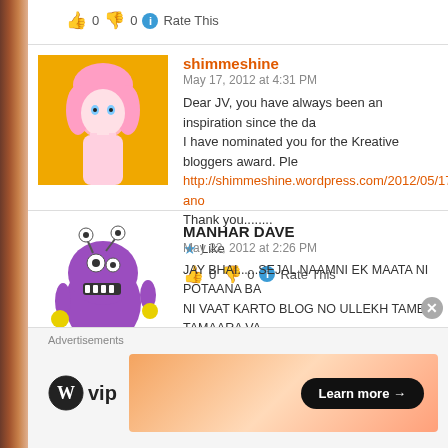👍 0 👎 0 ℹ Rate This
shimmeshine
May 17, 2012 at 4:31 PM
Dear JV, you have always been an inspiration since the da...
I have nominated you for the Kreative bloggers award. Ple...
http://shimmeshine.wordpress.com/2012/05/17/thrilled-an...
Thank you........
★ Like
👍 0 👎 0 ℹ Rate This
MANHAR DAVE
May 22, 2012 at 2:26 PM
JAY BHAI......SEJAL NAAMNI EK MAATA NI POTAANA BA...
NI VAAT KARTO BLOG NO ULLEKH TAME TAMAARA VA...
BLOG OPEN THATO NATHI...I DONT KNOW WHY.....BA...
MAJHA PADI.....CHOKKAS YOGYA MAARGDARSH...
Advertisements
[Figure (logo): WordPress VIP logo with WP circle mark and 'vip' text]
[Figure (infographic): Orange/peach gradient ad banner with 'Learn more →' black button]